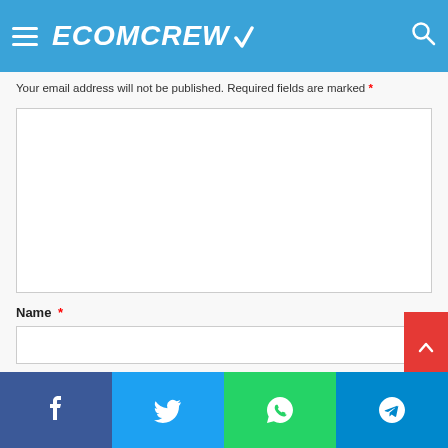ECOMCREW
Your email address will not be published. Required fields are marked *
[Figure (screenshot): Large empty comment text area input box]
Name *
[Figure (screenshot): Name text input field]
Email *
[Figure (screenshot): Social share bar with Facebook, Twitter, WhatsApp, and Telegram buttons]